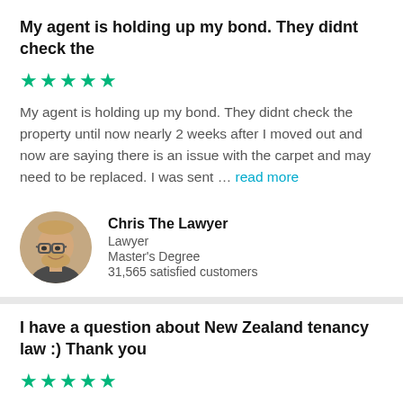My agent is holding up my bond. They didnt check the
[Figure (other): Five teal/green star rating icons]
My agent is holding up my bond. They didnt check the property until now nearly 2 weeks after I moved out and now are saying there is an issue with the carpet and may need to be replaced. I was sent … read more
[Figure (photo): Circular profile photo of Chris The Lawyer, a man with glasses and a beard]
Chris The Lawyer
Lawyer
Master's Degree
31,565 satisfied customers
I have a question about New Zealand tenancy law :) Thank you
[Figure (other): Five teal/green star rating icons]